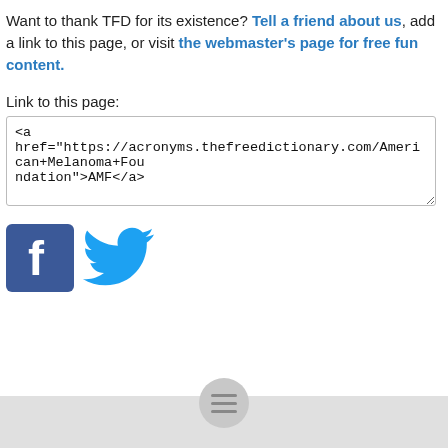Want to thank TFD for its existence? Tell a friend about us, add a link to this page, or visit the webmaster's page for free fun content.
Link to this page:
<a href="https://acronyms.thefreedictionary.com/American+Melanoma+Foundation">AMF</a>
[Figure (logo): Facebook and Twitter social media icons]